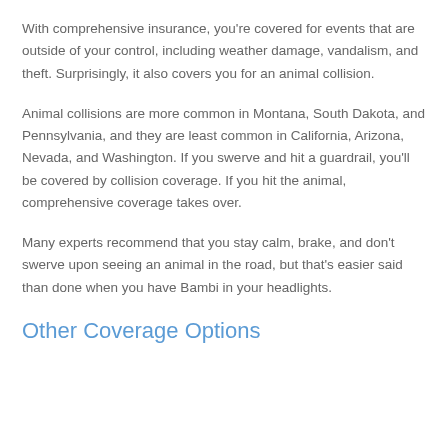With comprehensive insurance, you're covered for events that are outside of your control, including weather damage, vandalism, and theft. Surprisingly, it also covers you for an animal collision.
Animal collisions are more common in Montana, South Dakota, and Pennsylvania, and they are least common in California, Arizona, Nevada, and Washington. If you swerve and hit a guardrail, you'll be covered by collision coverage. If you hit the animal, comprehensive coverage takes over.
Many experts recommend that you stay calm, brake, and don't swerve upon seeing an animal in the road, but that's easier said than done when you have Bambi in your headlights.
Other Coverage Options